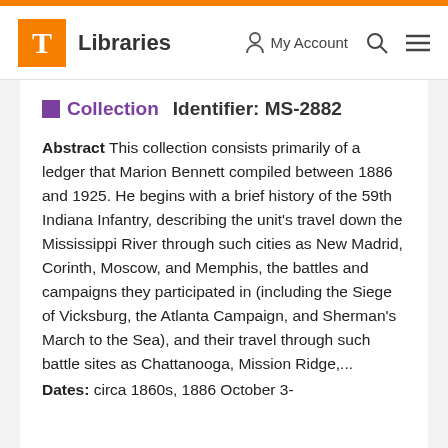T Libraries | My Account | Search | Menu
Collection   Identifier: MS-2882
Abstract This collection consists primarily of a ledger that Marion Bennett compiled between 1886 and 1925. He begins with a brief history of the 59th Indiana Infantry, describing the unit's travel down the Mississippi River through such cities as New Madrid, Corinth, Moscow, and Memphis, the battles and campaigns they participated in (including the Siege of Vicksburg, the Atlanta Campaign, and Sherman's March to the Sea), and their travel through such battle sites as Chattanooga, Mission Ridge,...
Dates: circa 1860s, 1886 October 3-